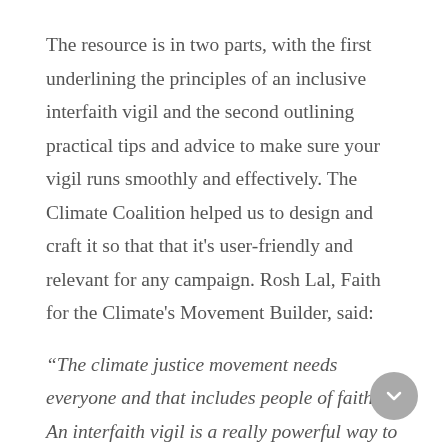The resource is in two parts, with the first underlining the principles of an inclusive interfaith vigil and the second outlining practical tips and advice to make sure your vigil runs smoothly and effectively. The Climate Coalition helped us to design and craft it so that that it's user-friendly and relevant for any campaign. Rosh Lal, Faith for the Climate's Movement Builder, said:
“The climate justice movement needs everyone and that includes people of faith. An interfaith vigil is a really powerful way to demonstrate the universal values of all faiths; of care, compassion and advocacy for the Earth